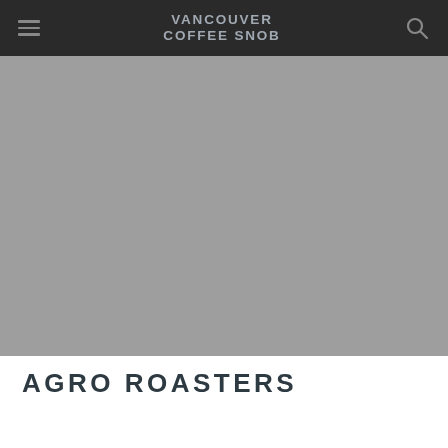VANCOUVER COFFEE SNOB
[Figure (photo): Large hero image placeholder, grey/medium gray background, no visible content]
AGRO ROASTERS